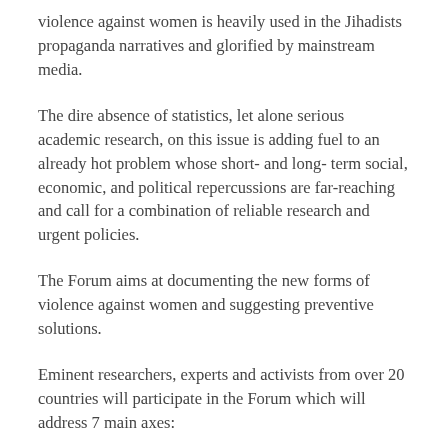violence against women is heavily used in the Jihadists propaganda narratives and glorified by mainstream media.
The dire absence of statistics, let alone serious academic research, on this issue is adding fuel to an already hot problem whose short- and long- term social, economic, and political repercussions are far-reaching and call for a combination of reliable research and urgent policies.
The Forum aims at documenting the new forms of violence against women and suggesting preventive solutions.
Eminent researchers, experts and activists from over 20 countries will participate in the Forum which will address 7 main axes:
1. What does the escalation of violence against women mean?